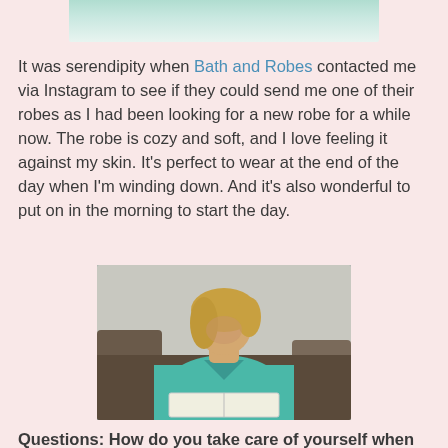[Figure (photo): Top portion of a photo showing a teal/mint green robe or towel against a light background, cropped at top of page]
It was serendipity when Bath and Robes contacted me via Instagram to see if they could send me one of their robes as I had been looking for a new robe for a while now. The robe is cozy and soft, and I love feeling it against my skin. It's perfect to wear at the end of the day when I'm winding down. And it's also wonderful to put on in the morning to start the day.
[Figure (photo): A woman with blonde hair wearing a teal/green robe, sitting on a brown leather couch and reading a book]
Questions: How do you take care of yourself when life